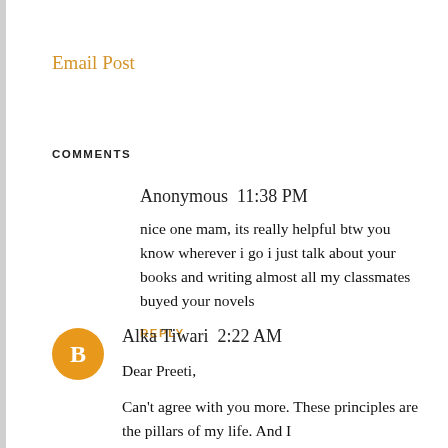Email Post
COMMENTS
Anonymous 11:38 PM
nice one mam, its really helpful btw you know wherever i go i just talk about your books and writing almost all my classmates buyed your novels
REPLY
[Figure (illustration): Orange circle avatar with white blogger 'B' icon]
Alka Tiwari 2:22 AM
Dear Preeti,
Can't agree with you more. These principles are the pillars of my life. And I